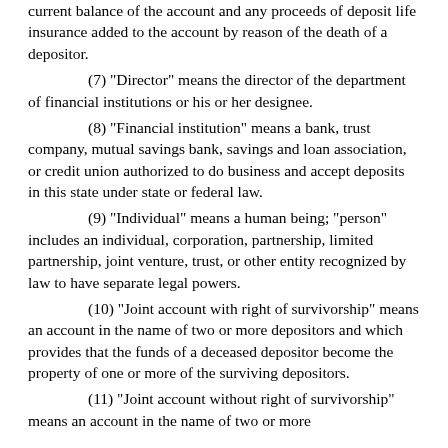current balance of the account and any proceeds of deposit life insurance added to the account by reason of the death of a depositor.
(7) "Director" means the director of the department of financial institutions or his or her designee.
(8) "Financial institution" means a bank, trust company, mutual savings bank, savings and loan association, or credit union authorized to do business and accept deposits in this state under state or federal law.
(9) "Individual" means a human being; "person" includes an individual, corporation, partnership, limited partnership, joint venture, trust, or other entity recognized by law to have separate legal powers.
(10) "Joint account with right of survivorship" means an account in the name of two or more depositors and which provides that the funds of a deceased depositor become the property of one or more of the surviving depositors.
(11) "Joint account without right of survivorship" means an account in the name of two or more